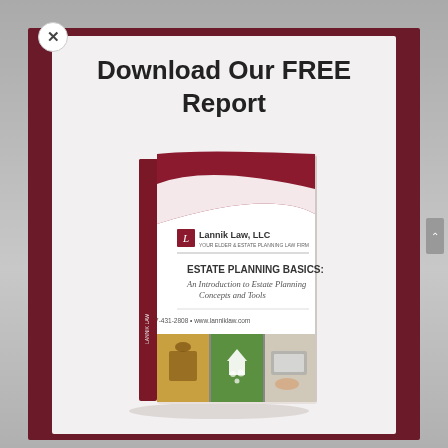Download Our FREE Report
[Figure (illustration): Book cover for 'Estate Planning Basics: An Introduction to Estate Planning Concepts and Tools' by Lannik Law, LLC. Shows law firm logo, title text, subtitle in italic, phone number 817-431-2808 and website www.lanniklaw.com, and bottom panel with three photos: family in field, house with family silhouette, person writing on tablet.]